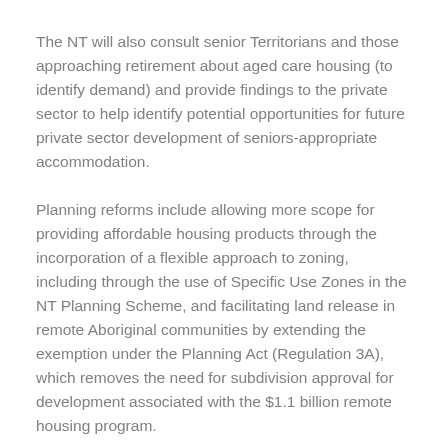The NT will also consult senior Territorians and those approaching retirement about aged care housing (to identify demand) and provide findings to the private sector to help identify potential opportunities for future private sector development of seniors-appropriate accommodation.
Planning reforms include allowing more scope for providing affordable housing products through the incorporation of a flexible approach to zoning, including through the use of Specific Use Zones in the NT Planning Scheme, and facilitating land release in remote Aboriginal communities by extending the exemption under the Planning Act (Regulation 3A), which removes the need for subdivision approval for development associated with the $1.1 billion remote housing program.